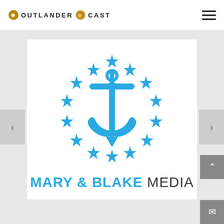OUTLANDER CAST
[Figure (logo): Mary & Blake Media logo: a blue anchor centered within a circle of 13 blue six-pointed stars, with text 'MARY & BLAKE MEDIA' below in blue and dark gray]
MARY & BLAKE MEDIA